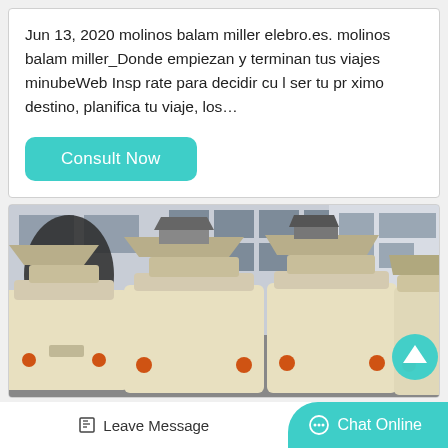Jun 13, 2020 molinos balam miller elebro.es. molinos balam miller_Donde empiezan y terminan tus viajes minubeWeb Insp rate para decidir cu l ser tu pr ximo destino, planifica tu viaje, los…
Consult Now
[Figure (photo): Industrial milling machines (cream/beige colored, large grinding mill equipment) lined up in a factory outdoor area with a building facade in the background]
Leave Message
Chat Online